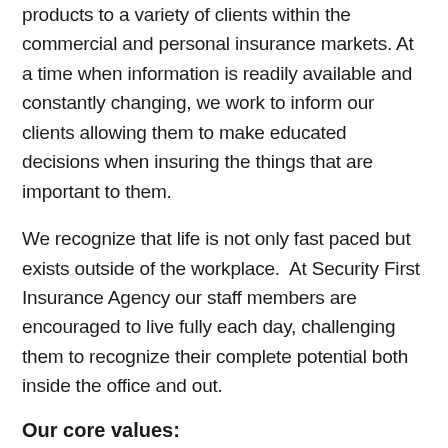products to a variety of clients within the commercial and personal insurance markets. At a time when information is readily available and constantly changing, we work to inform our clients allowing them to make educated decisions when insuring the things that are important to them.
We recognize that life is not only fast paced but exists outside of the workplace.  At Security First Insurance Agency our staff members are encouraged to live fully each day, challenging them to recognize their complete potential both inside the office and out.
Our core values: